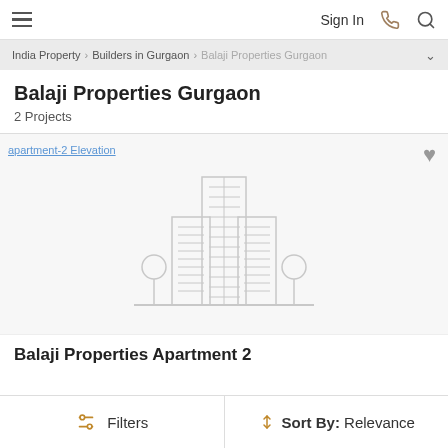Sign In
India Property > Builders in Gurgaon > Balaji Properties Gurgaon
Balaji Properties Gurgaon
2 Projects
[Figure (illustration): Placeholder building icon showing stylized apartment towers with trees, in light gray outline style. Text link: apartment-2 Elevation]
Balaji Properties Apartment 2
Filters   Sort By: Relevance